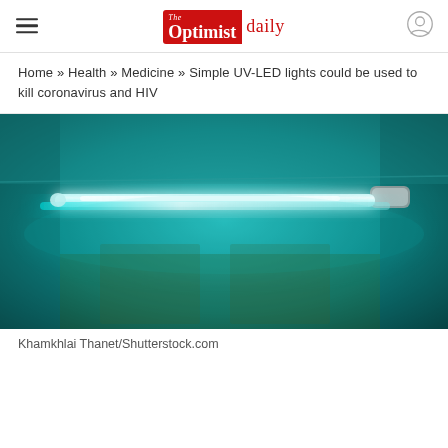The Optimist daily
Home » Health » Medicine » Simple UV-LED lights could be used to kill coronavirus and HIV
[Figure (photo): UV-C fluorescent tube light mounted on a wall/ceiling in a teal-lit room, glowing bright white-blue with LED strip light effect]
Khamkhlai Thanet/Shutterstock.com